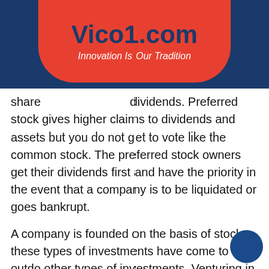Vico1.com — Innovation Is Our Tradition
shareholders dividends. Preferred stock gives higher claims to dividends and assets but you do not get to vote like the common stock. The preferred stock owners get their dividends first and have the priority in the event that a company is to be liquidated or goes bankrupt.
A company is founded on the basis of stock, these types of investments have come to outdo other types of investments. Venturing in investments is meant to give you back returns, the whole point of investing is to reap from the profits. Any investment leave a lone stock is meant to give you back some returns from the profits that the company is going to make. Having established that in business and investment it's all about taking risks, what sets apart success from failure is the ability to take worthy risks. Perform some in-depth research on the company that you hope to buy stock from,